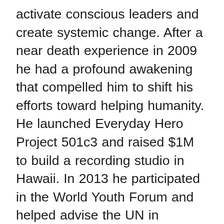activate conscious leaders and create systemic change. After a near death experience in 2009 he had a profound awakening that compelled him to shift his efforts toward helping humanity. He launched Everyday Hero Project 501c3 and raised $1M to build a recording studio in Hawaii. In 2013 he participated in the World Youth Forum and helped advise the UN in establishing what later became the Sustainable Development Goals. As a youth advocate he published the book "Hack Your Education" was published as a curriculum in universities and highschools internationally and presented a TED talk on the "Education Energy Movement". Today Jonathan creates "meditations for your medication" with his nutritional supplement company Transcend Alchemy and hosts